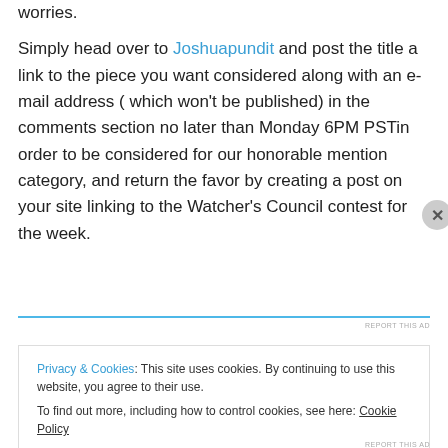worries.
Simply head over to Joshuapundit and post the title a link to the piece you want considered along with an e-mail address ( which won't be published) in the comments section no later than Monday 6PM PSTin order to be considered for our honorable mention category, and return the favor by creating a post on your site linking to the Watcher's Council contest for the week.
Privacy & Cookies: This site uses cookies. By continuing to use this website, you agree to their use.
To find out more, including how to control cookies, see here: Cookie Policy
Close and accept